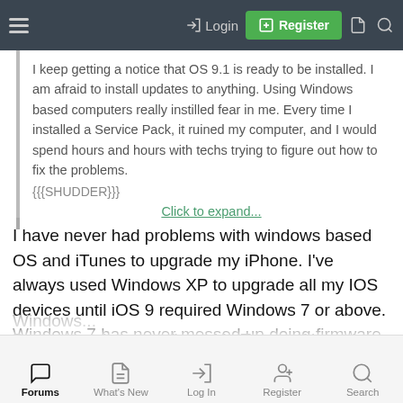Login | Register
I keep getting a notice that OS 9.1 is ready to be installed. I am afraid to install updates to anything. Using Windows based computers really instilled fear in me. Every time I installed a Service Pack, it ruined my computer, and I would spend hours and hours with techs trying to figure out how to fix the problems. {{{SHUDDER}}}
Click to expand...
I have never had problems with windows based OS and iTunes to upgrade my iPhone. I've always used Windows XP to upgrade all my IOS devices until iOS 9 required Windows 7 or above. Windows 7 has never messed up doing firmware upgrades.
Back your phone up first with iTunes. If it back ups fine, then your good as gold to proceed with a firmware upgrade using
Forums | What's New | Log In | Register | Search